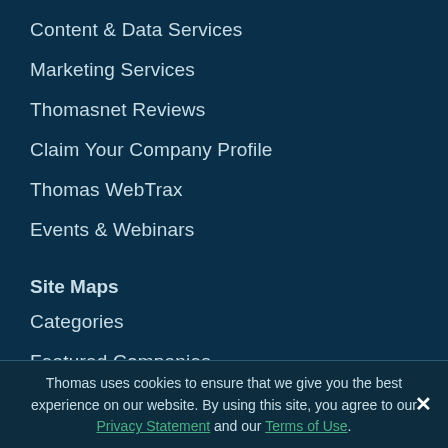Content & Data Services
Marketing Services
Thomasnet Reviews
Claim Your Company Profile
Thomas WebTrax
Events & Webinars
Site Maps
Categories
Featured Companies
Featured Categories
Featured Products
Featured Catalogs
Thomas uses cookies to ensure that we give you the best experience on our website. By using this site, you agree to our Privacy Statement and our Terms of Use.